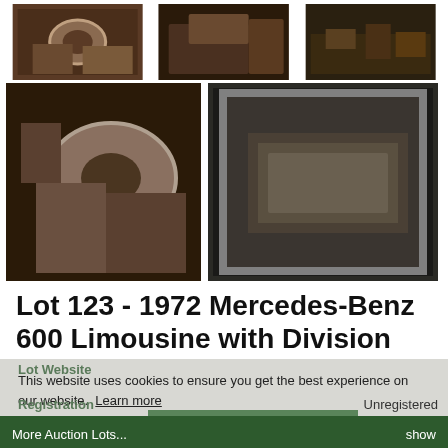[Figure (photo): Three car photos in top row - interior, engine parts, and parts on floor]
[Figure (photo): Two car interior photos in middle row - steering wheel and window/door view]
Lot 123 - 1972 Mercedes-Benz 600 Limousine with Division
This website uses cookies to ensure you get the best experience on our website. Learn more
Lot Website
Registration    Unregistered
Chassis Number    100012-22-001661
Got it!
More Auction Lots...    show